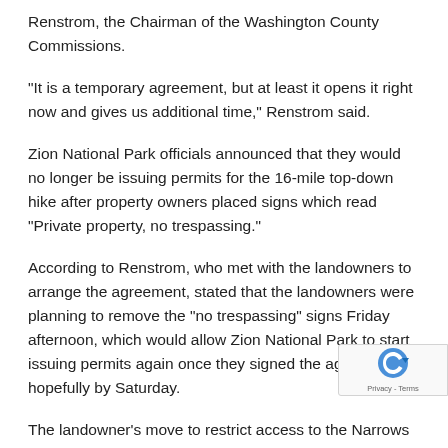Renstrom, the Chairman of the Washington County Commissions.
“It is a temporary agreement, but at least it opens it right now and gives us additional time,” Renstrom said.
Zion National Park officials announced that they would no longer be issuing permits for the 16-mile top-down hike after property owners placed signs which read “Private property, no trespassing.”
According to Renstrom, who met with the landowners to arrange the agreement, stated that the landowners were planning to remove the “no trespassing” signs Friday afternoon, which would allow Zion National Park to start issuing permits again once they signed the agreement, hopefully by Saturday.
The landowner’s move to restrict access to the Narrows u... many who traveled to hike through the canyon. The landowners...